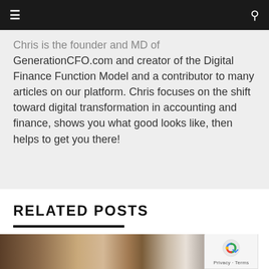Navigation bar with menu and search icons
Chris is the founder and MD of GenerationCFO.com and creator of the Digital Finance Function Model and a contributor to many articles on our platform. Chris focuses on the shift toward digital transformation in accounting and finance, shows you what good looks like, then helps to get you there!
RELATED POSTS
[Figure (photo): Photo of people working around a table viewed from above, with circular mirrors or frames visible on a wooden floor background]